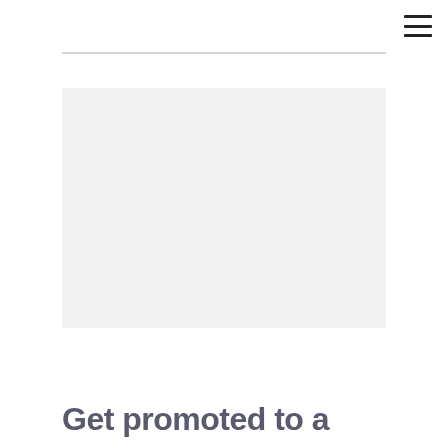[Figure (illustration): Large light gray rectangular placeholder image area]
Get promoted to a